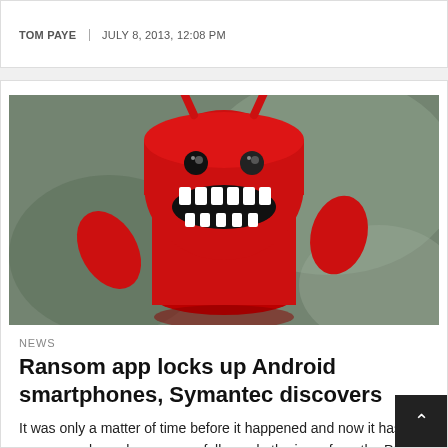TOM PAYE | JULY 8, 2013, 12:08 PM
[Figure (photo): Red Android mascot toy figure with a menacing grin, photographed against a blurred green background]
NEWS
Ransom app locks up Android smartphones, Symantec discovers
It was only a matter of time before it happened and now it has – ransom malware has successfully made the jump from the PC world, where it torments millions of Windows